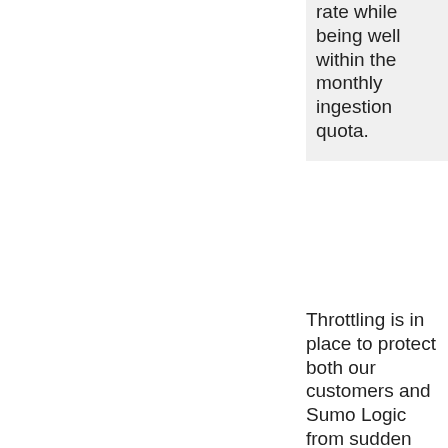rate while being well within the monthly ingestion quota.
Throttling is in place to protect both our customers and Sumo Logic from sudden and unexpectedly large increases in volume, which could result in your account using On-Demand...